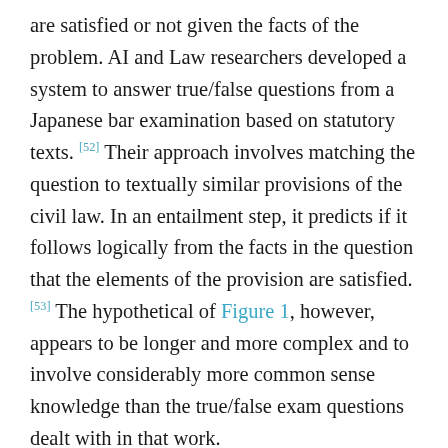are satisfied or not given the facts of the problem. AI and Law researchers developed a system to answer true/false questions from a Japanese bar examination based on statutory texts. [52] Their approach involves matching the question to textually similar provisions of the civil law. In an entailment step, it predicts if it follows logically from the facts in the question that the elements of the provision are satisfied. [53] The hypothetical of Figure 1, however, appears to be longer and more complex and to involve considerably more common sense knowledge than the true/false exam questions dealt with in that work.